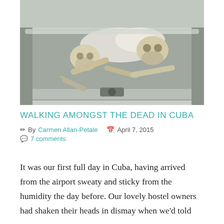[Figure (photo): Photograph of human skulls and bones piled in a large grey plastic bin or dumpster container, with white cloth/plastic bags mixed in, outdoors near a wall.]
WALKING AMONGST THE DEAD IN CUBA
By Carmen Allan-Petale   April 7, 2015
7 comments
It was our first full day in Cuba, having arrived from the airport sweaty and sticky from the humidity the day before. Our lovely hostel owners had shaken their heads in dismay when we'd told